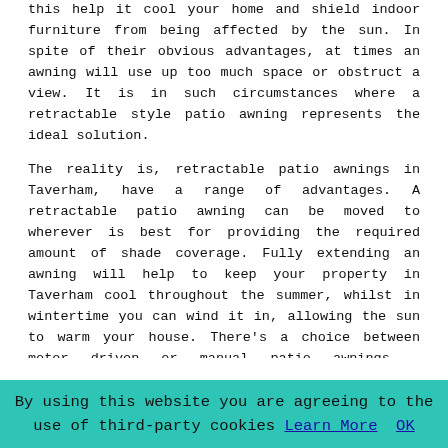this help it cool your home and shield indoor furniture from being affected by the sun. In spite of their obvious advantages, at times an awning will use up too much space or obstruct a view. It is in such circumstances where a retractable style patio awning represents the ideal solution.
The reality is, retractable patio awnings in Taverham, have a range of advantages. A retractable patio awning can be moved to wherever is best for providing the required amount of shade coverage. Fully extending an awning will help to keep your property in Taverham cool throughout the summer, whilst in wintertime you can wind it in, allowing the sun to warm your house. There's a choice between motor driven or manual patio awnings - mechanical awnings are much more convenient, whilst manual awnings are cheaper, but generally more robust.
Electric Awnings Taverham
An electric/motorised awning is easy to use, energy efficient and can be operated by anyone. There are options for remote controls, wall mounted switches, or even an app for your phone so that you are able to close and open your awning from anyplace. Automatic opening and closing can be
By using this website you are agreeing to the use of third-party cookies Learn More OK